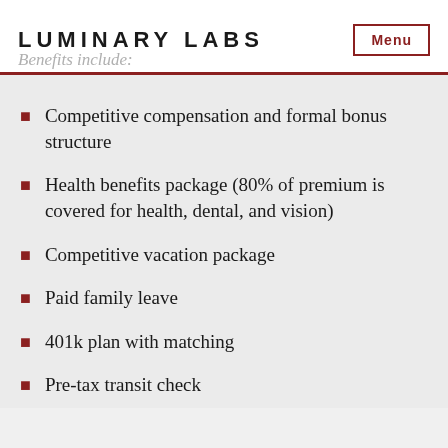LUMINARY LABS
Benefits include:
Competitive compensation and formal bonus structure
Health benefits package (80% of premium is covered for health, dental, and vision)
Competitive vacation package
Paid family leave
401k plan with matching
Pre-tax transit check